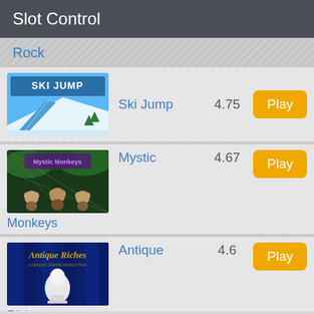Slot Control
Rock
[Figure (screenshot): Ski Jump game thumbnail - snowy ski jump ramp with blue sky]
Ski Jump
4.75
Play
[Figure (screenshot): Mystic Monkeys game thumbnail - animated monkeys in jungle]
Mystic Monkeys
4.67
Play
[Figure (screenshot): Antique Riches game thumbnail - gold text on blue curtain background]
Antique Riches
4.6
Play